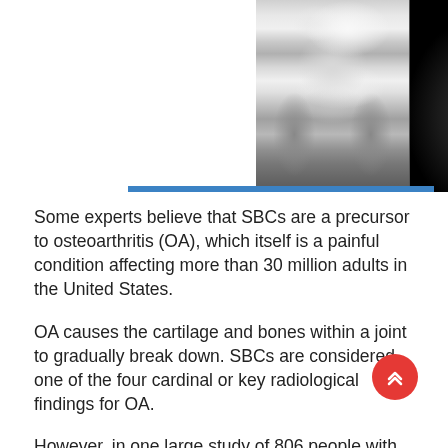[Figure (photo): Two medical images side by side: left panel shows an X-ray of a knee joint (grayscale radiograph showing femur and tibia bones), right panel shows an MRI cross-section of a joint (dark background with anatomical structures and a bright white spot visible in upper right).]
Some experts believe that SBCs are a precursor to osteoarthritis (OA), which itself is a painful condition affecting more than 30 million adults in the United States.
OA causes the cartilage and bones within a joint to gradually break down. SBCs are considered one of the four cardinal or key radiological findings for OA.
However, in one large study of 806 people with OA in the